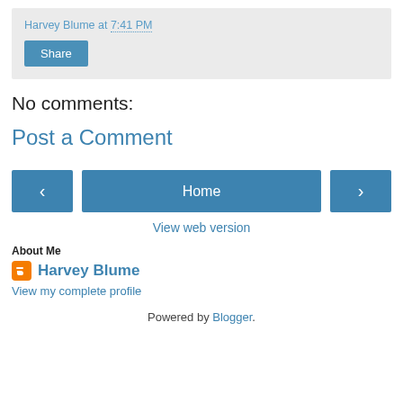Harvey Blume at 7:41 PM
Share
No comments:
Post a Comment
‹  Home  ›
View web version
About Me
Harvey Blume
View my complete profile
Powered by Blogger.